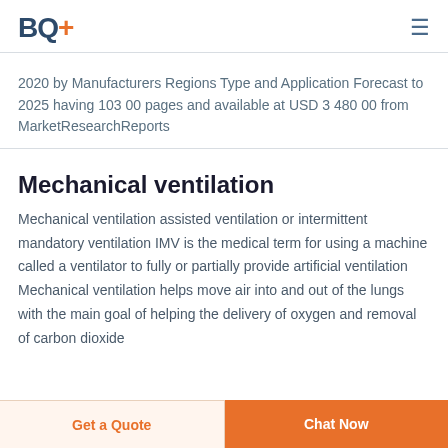BQ+
2020 by Manufacturers Regions Type and Application Forecast to 2025 having 103 00 pages and available at USD 3 480 00 from MarketResearchReports
Mechanical ventilation
Mechanical ventilation assisted ventilation or intermittent mandatory ventilation IMV is the medical term for using a machine called a ventilator to fully or partially provide artificial ventilation Mechanical ventilation helps move air into and out of the lungs with the main goal of helping the delivery of oxygen and removal of carbon dioxide